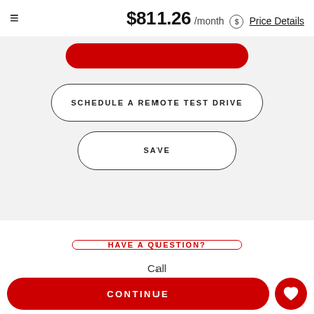$811.26 /month Price Details
SCHEDULE A REMOTE TEST DRIVE
SAVE
HAVE A QUESTION?
Call
CONTINUE